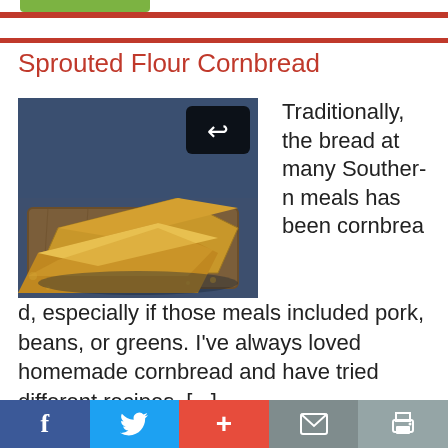Sprouted Flour Cornbread
[Figure (photo): Photo of golden cornbread slices stacked on a wooden cutting board, with crumbs around them, on a dark background. A black share button icon is overlaid in the top-right of the photo.]
Traditionally, the bread at many Southern meals has been cornbread, especially if those meals included pork, beans, or greens. I've always loved homemade cornbread and have tried different recipes, [...]
f  [Twitter bird]  +  [Mail]  [Print]